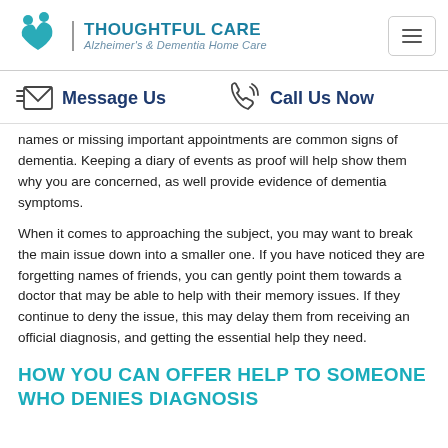THOUGHTFUL CARE – Alzheimer's & Dementia Home Care
Message Us   Call Us Now
names or missing important appointments are common signs of dementia. Keeping a diary of events as proof will help show them why you are concerned, as well provide evidence of dementia symptoms.
When it comes to approaching the subject, you may want to break the main issue down into a smaller one. If you have noticed they are forgetting names of friends, you can gently point them towards a doctor that may be able to help with their memory issues. If they continue to deny the issue, this may delay them from receiving an official diagnosis, and getting the essential help they need.
HOW YOU CAN OFFER HELP TO SOMEONE WHO DENIES DIAGNOSIS